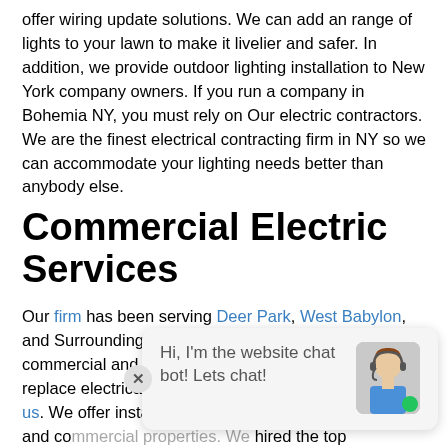offer wiring update solutions. We can add an range of lights to your lawn to make it livelier and safer. In addition, we provide outdoor lighting installation to New York company owners. If you run a company in Bohemia NY, you must rely on Our electric contractors. We are the finest electrical contracting firm in NY so we can accommodate your lighting needs better than anybody else.
Commercial Electric Services
Our firm has been serving Deer Park, West Babylon, and Surrounding areas for several years. We offer commercial and residential solutions. If you have to replace electrical outlets and fixtures, you should call us. We offer installation services for both residential and commercial properties. We hired the top electricians in the state of New York so that we can
[Figure (other): Website chat widget overlay with text 'Hi, I'm the website chat bot! Lets chat!' and a female customer service avatar with a green online indicator dot]